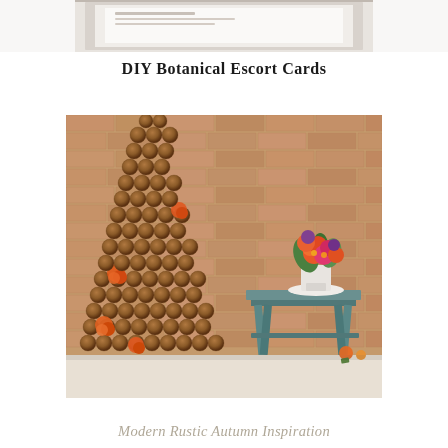[Figure (photo): Partial view of a framed artwork or sign against a light background, cropped at top of page]
DIY Botanical Escort Cards
[Figure (photo): A tall tiered cake covered in round chocolate cake balls arranged in rows, decorated with orange roses, displayed in front of an exposed brick wall. To the right is a rustic teal step stool/table holding a colorful floral arrangement of orange, coral, pink flowers with greenery in a white pedestal vase.]
Modern Rustic Autumn Inspiration